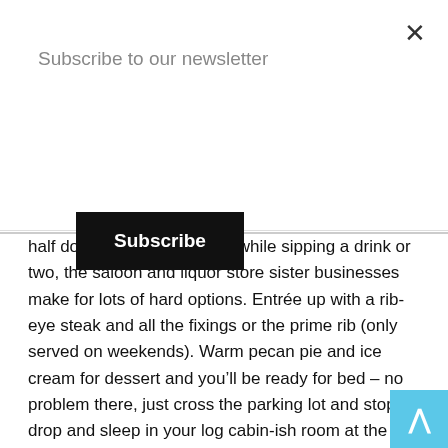Subscribe to our newsletter
Subscribe
half dozen chicken taquitos while sipping a drink or two, the saloon and liquor store sister businesses make for lots of hard options. Entrée up with a rib-eye steak and all the fixings or the prime rib (only served on weekends). Warm pecan pie and ice cream for dessert and you'll be ready for bed – no problem there, just cross the parking lot and stop, drop and sleep in your log cabin-ish room at the lodge.
Still Have Legs, lungs and Sunlight? Head east on Hwy 26 to Hoback Junction (24 miles). It's a winding road that hugs the Snake River through a famously picturesque canyon. If you extend your ride to include this leg, chances are, you'll be riding near dusk, which is a great time to take in the beauty of